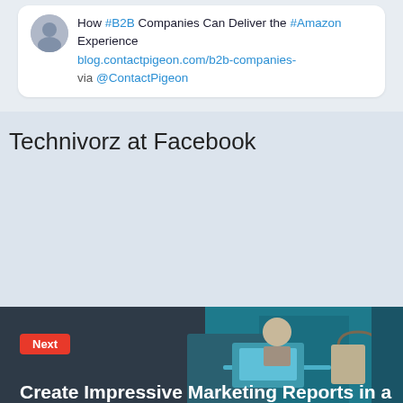How #B2B Companies Can Deliver the #Amazon Experience blog.contactpigeon.com/b2b-companies- via @ContactPigeon
Technivorz at Facebook
[Figure (illustration): Dark teal illustrated banner showing a person at a desk with a laptop and a shopping bag, representing marketing reports]
Next
Create Impressive Marketing Reports in a Ma...